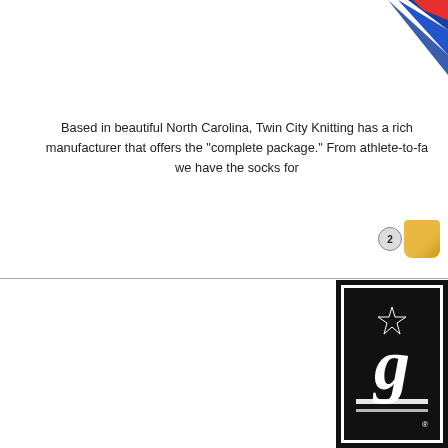[Figure (illustration): Blue geometric/star decorative graphic in the top-right corner, partial view]
Based in beautiful North Carolina, Twin City Knitting has a rich history as a manufacturer that offers the "complete package." From athlete-to-fa... we have the socks for...
[Figure (photo): Sock product images with numbered badges (2, 1, 2) on the right side]
[Figure (logo): Black rectangular logo block with white bordered G letter and star, appears to be Gildan or similar brand logo, bottom right]